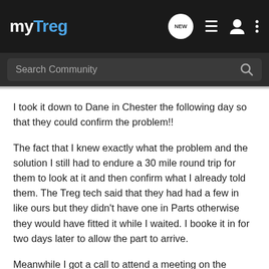myTreg
Search Community
I took it down to Dane in Chester the following day so that they could confirm the problem!!
The fact that I knew exactly what the problem and the solution I still had to endure a 30 mile round trip for them to look at it and then confirm what I already told them. The Treg tech said that they had had a few in like ours but they didn't have one in Parts otherwise they would have fitted it while I waited. I booke it in for two days later to allow the part to arrive.
Meanwhile I got a call to attend a meeting on the Friday so I called them to rearrange for another day but to be fair to Dane they sad that they would not be long doing it and I could wait. I wasn't prepared to do this as time would be tight so I said